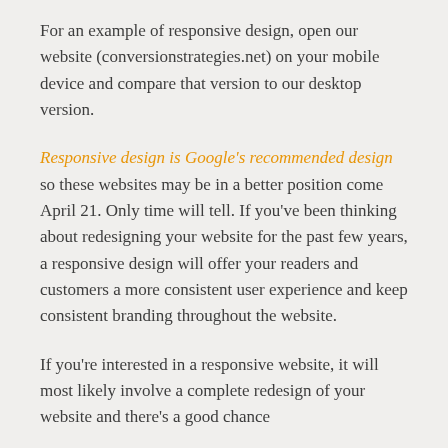For an example of responsive design, open our website (conversionstrategies.net) on your mobile device and compare that version to our desktop version.
Responsive design is Google's recommended design so these websites may be in a better position come April 21. Only time will tell. If you've been thinking about redesigning your website for the past few years, a responsive design will offer your readers and customers a more consistent user experience and keep consistent branding throughout the website.
If you're interested in a responsive website, it will most likely involve a complete redesign of your website and there's a good chance